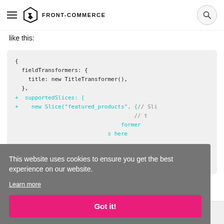Front-Commerce
like this:
{
  fieldTransformers: {
    title: new TitleTransformer(),
  },
+  supportedSlices: [
+    new Slice("featured_products", { // Sli
                                      // t
                                      // former
                                      // s here
  ],
}
This website uses cookies to ensure you get the best experience on our website.
Learn more
Got it!